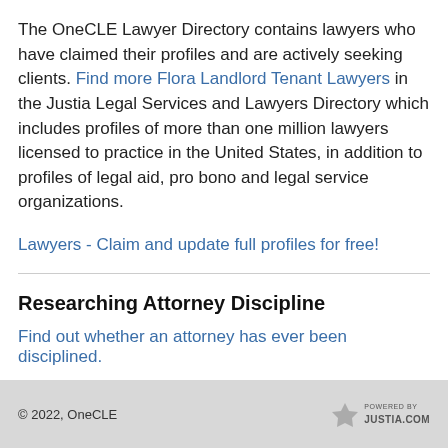The OneCLE Lawyer Directory contains lawyers who have claimed their profiles and are actively seeking clients. Find more Flora Landlord Tenant Lawyers in the Justia Legal Services and Lawyers Directory which includes profiles of more than one million lawyers licensed to practice in the United States, in addition to profiles of legal aid, pro bono and legal service organizations.
Lawyers - Claim and update full profiles for free!
Researching Attorney Discipline
Find out whether an attorney has ever been disciplined.
© 2022, OneCLE   POWERED BY JUSTIA.COM